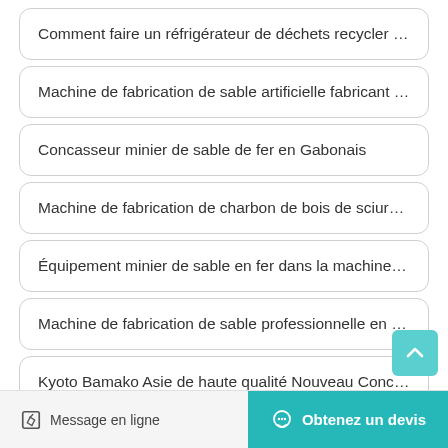Comment faire un réfrigérateur de déchets recycler du plasti…
Machine de fabrication de sable artificielle fabricant indien
Concasseur minier de sable de fer en Gabonais
Machine de fabrication de charbon de bois de sciure de bois
Équipement minier de sable en fer dans la machine de conca…
Machine de fabrication de sable professionnelle en poudre F…
Kyoto Bamako Asie de haute qualité Nouveau Concasseur d…
Message en ligne   Obtenez un devis